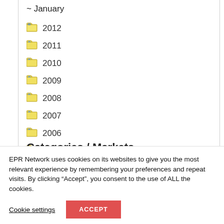~ January
2012
2011
2010
2009
2008
2007
2006
2005
2004
Categories / Markets
EPR Network uses cookies on its websites to give you the most relevant experience by remembering your preferences and repeat visits. By clicking “Accept”, you consent to the use of ALL the cookies.
Cookie settings
ACCEPT